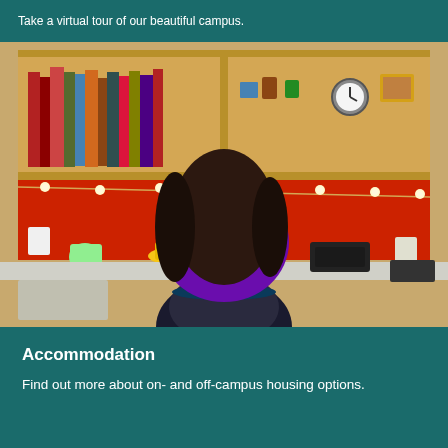Take a virtual tour of our beautiful campus.
[Figure (photo): A student with long dark hair, wearing a purple top, sits at a wooden desk with bookshelves above filled with books and personal items, a red pinboard behind the desk decorated with fairy lights, and a black office chair in the foreground.]
Accommodation
Find out more about on- and off-campus housing options.